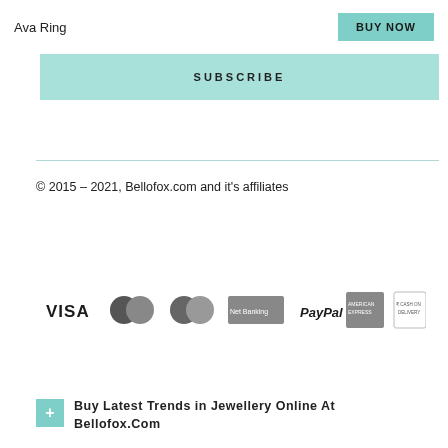Ava Ring
BUY NOW
SUBSCRIBE
© 2015 – 2021, Bellofox.com and it's affiliates
[Figure (other): Payment method icons: VISA, Mastercard, Maestro, Net Banking, PayPal, American Express, Cash on Delivery]
Buy Latest Trends in Jewellery Online At Bellofox.Com